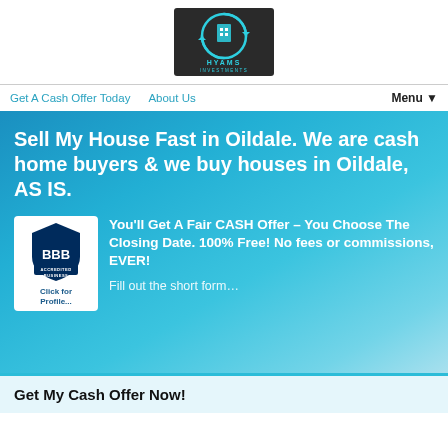[Figure (logo): Hyams Investments logo — circular teal icon with building/document graphic, 'HYAMS INVESTMENTS' text below]
Get A Cash Offer Today   About Us   Menu▼
Sell My House Fast in Oildale. We are cash home buyers & we buy houses in Oildale, AS IS.
[Figure (logo): BBB Accredited Business seal with blue shield logo]
You'll Get A Fair CASH Offer – You Choose The Closing Date. 100% Free! No fees or commissions, EVER!
Fill out the short form…
Click for Profile…
Get My Cash Offer Now!